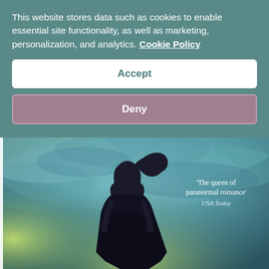This website stores data such as cookies to enable essential site functionality, as well as marketing, personalization, and analytics. Cookie Policy
Accept
Deny
[Figure (illustration): Book cover showing a silhouette of a woman with long flowing hair standing against a dramatic stormy sky with teal, blue, and yellow-green tones. Text reads 'INTERNATIONAL BESTSELLING AUTHOR' at the top and a quote 'The queen of paranormal romance' — USA Today on the right.]